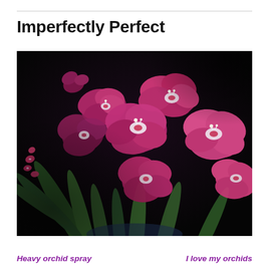Imperfectly Perfect
[Figure (photo): Close-up photograph of pink/magenta cymbidium orchid blooms with white centers and red markings, against a dark/black background with green leaves visible]
Heavy orchid spray     I love my orchids